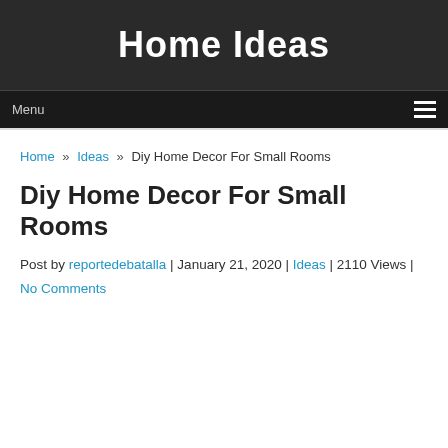Home Ideas
Diy Home Decor For Small Rooms
Home » Ideas » Diy Home Decor For Small Rooms
Post by reportedebatalla | January 21, 2020 | Ideas | 2110 Views | No Comments